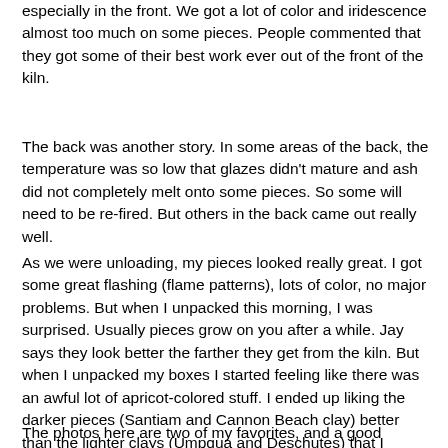especially in the front. We got a lot of color and iridescence almost too much on some pieces. People commented that they got some of their best work ever out of the front of the kiln.
The back was another story. In some areas of the back, the temperature was so low that glazes didn't mature and ash did not completely melt onto some pieces. So some will need to be re-fired. But others in the back came out really well.
As we were unloading, my pieces looked really great. I got some great flashing (flame patterns), lots of color, no major problems. But when I unpacked this morning, I was surprised. Usually pieces grow on you after a while. Jay says they look better the farther they get from the kiln. But when I unpacked my boxes I started feeling like there was an awful lot of apricot-colored stuff. I ended up liking the darker pieces (Santiam and Cannon Beach clay) better than the lighter clays (Umpqua and Deschutes) that I thought would be better for the kiln. Some I still like a lot, but others I'm less sure about.
The photos here are two of my favorites, and a good